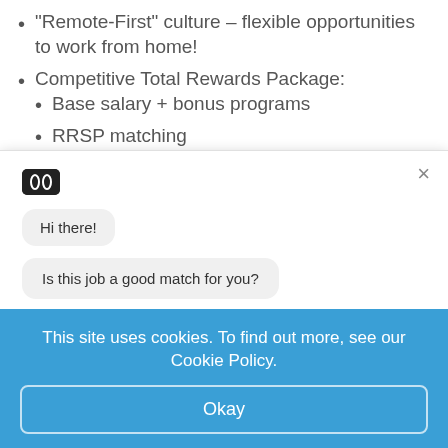"Remote-First" culture – flexible opportunities to work from home!
Competitive Total Rewards Package:
Base salary + bonus programs
RRSP matching
Employee Share Purchase Plan
[Figure (screenshot): Chat widget modal with chatbot icon, messages 'Hi there!' and 'Is this job a good match for you?', and two buttons: 'Yeah, it's great!' and 'Not really...' with a close X button in top right]
This site uses cookies. To find out more, see our Cookie Policy.
Okay